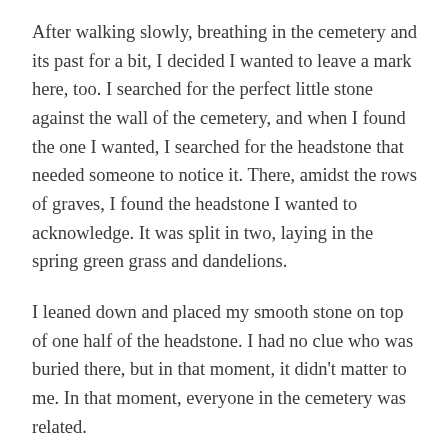After walking slowly, breathing in the cemetery and its past for a bit, I decided I wanted to leave a mark here, too. I searched for the perfect little stone against the wall of the cemetery, and when I found the one I wanted, I searched for the headstone that needed someone to notice it. There, amidst the rows of graves, I found the headstone I wanted to acknowledge. It was split in two, laying in the spring green grass and dandelions.
I leaned down and placed my smooth stone on top of one half of the headstone. I had no clue who was buried there, but in that moment, it didn't matter to me. In that moment, everyone in the cemetery was related.
I walked out of the Jewish District a few hours later, feeling pretty good. Except, in the back of my mind, I knew the next day was going to be the most difficult day for me — Auschwitz.